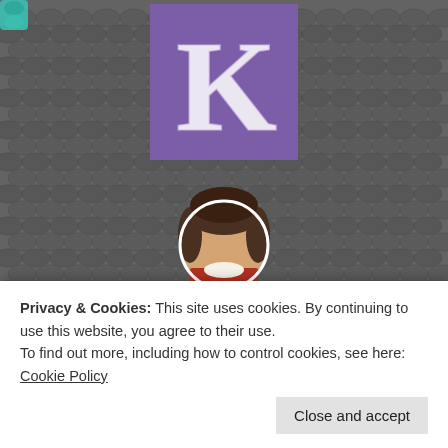[Figure (photo): Website profile page background showing grey textured crochet knit fabric with colorful yarn accents (teal top-left, pink and red bottom), a purple square logo with decorative letter K, a circular profile photo of a woman, the site title 'Kraus Stitch', and a partial tagline 'Artisanal Handcrafts made with love']
Privacy & Cookies: This site uses cookies. By continuing to use this website, you agree to their use.
To find out more, including how to control cookies, see here: Cookie Policy
Close and accept